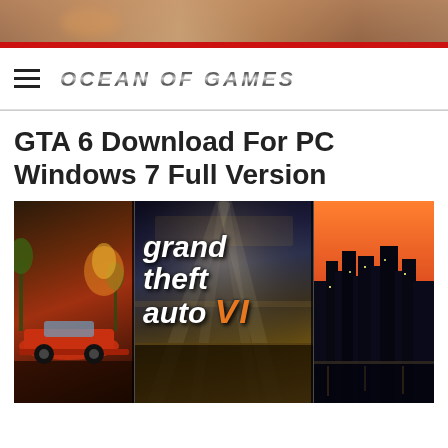[Figure (photo): Top banner image strip with blurred background]
OCEAN OF GAMES
GTA 6 Download For PC Windows 7 Full Version
[Figure (photo): Grand Theft Auto VI promotional image showing three panels: a red sports car on left, the GTA VI logo in center with stadium background and light rays, and a city skyline at sunset on the right]